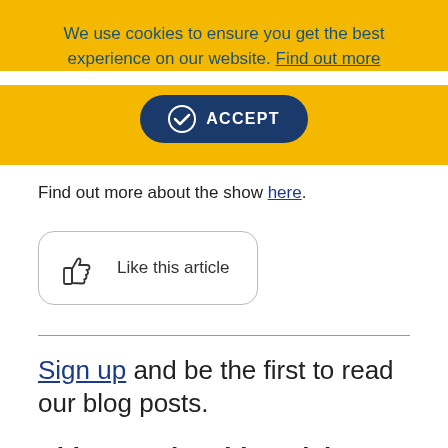We use cookies to ensure you get the best experience on our website. Find out more
[Figure (other): ACCEPT button with checkmark icon on dark blue rounded rectangle]
Find out more about the show here.
[Figure (other): Like this article button with thumbs up icon inside rounded rectangle border]
Sign up and be the first to read our blog posts.
Did you enjoy this article? Feel free to share it.
[Figure (other): TOP scroll-to-top circular button, dark blue, with upward arrow]